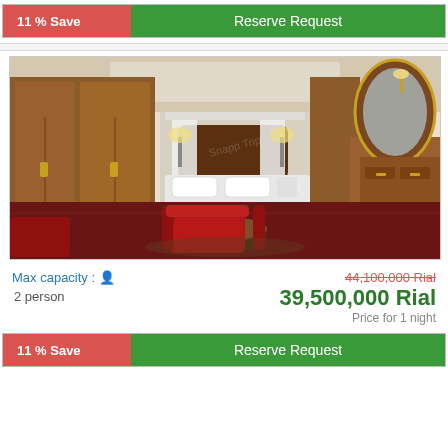11 % Save   Reserve Request
[Figure (photo): Luxury hotel room with ornate wooden furniture, a red patterned armchair, small coffee table, and a decorated bed with white canopy draping. Dark red carpet, wooden wardrobes on the left, and a large ornate mirror with dresser on the right.]
Max capacity : 2 person
44,100,000 Rial (strikethrough) 39,500,000 Rial Price for 1 night
11 % Save   Reserve Request